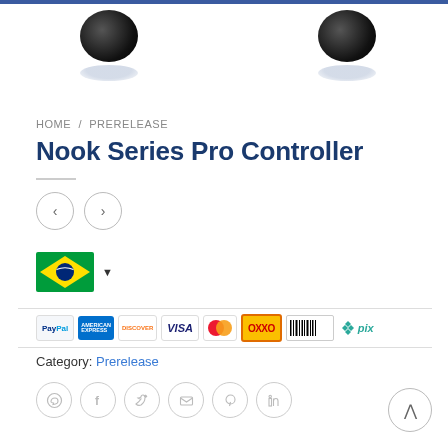[Figure (photo): Two black dome-shaped product images (Nook Series Pro Controller) with reflections on white background]
HOME / PRERELEASE
Nook Series Pro Controller
[Figure (infographic): Navigation arrows (left and right) in circular borders]
[Figure (infographic): Brazil flag with dropdown arrow for country/currency selector]
[Figure (infographic): Payment method logos: PayPal, American Express, Discover, VISA, Mastercard, OXXO, Boleto, pix]
Category: Prerelease
[Figure (infographic): Social sharing icons: WhatsApp, Facebook, Twitter, Email, Pinterest, LinkedIn]